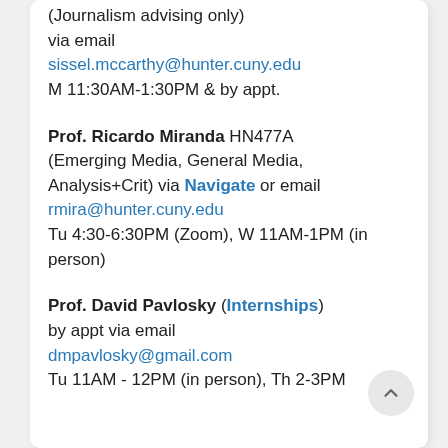(Journalism advising only)
via email
sissel.mccarthy@hunter.cuny.edu
M 11:30AM-1:30PM & by appt.
Prof. Ricardo Miranda HN477A
(Emerging Media, General Media, Analysis+Crit) via Navigate or email
rmira@hunter.cuny.edu
Tu 4:30-6:30PM (Zoom), W 11AM-1PM (in person)
Prof. David Pavlosky (Internships)
by appt via email
dmpavlosky@gmail.com
Tu 11AM - 12PM (in person), Th 2-3PM